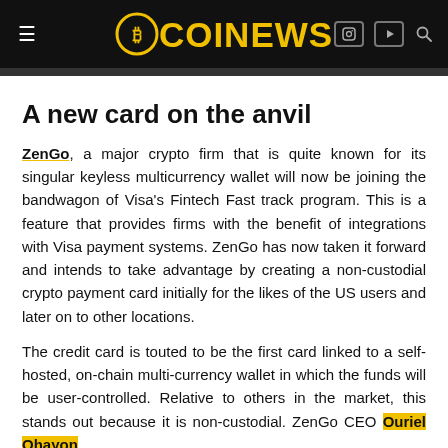COINEWS
A new card on the anvil
ZenGo, a major crypto firm that is quite known for its singular keyless multicurrency wallet will now be joining the bandwagon of Visa's Fintech Fast track program. This is a feature that provides firms with the benefit of integrations with Visa payment systems. ZenGo has now taken it forward and intends to take advantage by creating a non-custodial crypto payment card initially for the likes of the US users and later on to other locations.
The credit card is touted to be the first card linked to a self-hosted, on-chain multi-currency wallet in which the funds will be user-controlled. Relative to others in the market, this stands out because it is non-custodial. ZenGo CEO Ouriel Ohayon